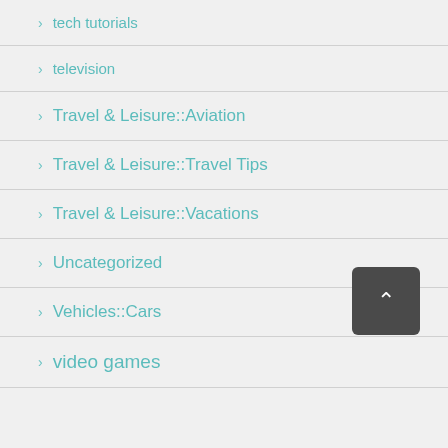tech tutorials
television
Travel & Leisure::Aviation
Travel & Leisure::Travel Tips
Travel & Leisure::Vacations
Uncategorized
Vehicles::Cars
video games